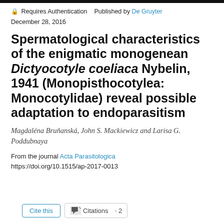🔒 Requires Authentication   Published by De Gruyter
December 28, 2016
Spermatological characteristics of the enigmatic monogenean Dictyocotyle coeliaca Nybelin, 1941 (Monopisthocotylea: Monocotylidae) reveal possible adaptation to endoparasitism
Magdaléna Bruňanská, John S. Mackiewicz and Larisa G. Poddubnaya
From the journal Acta Parasitologica
https://doi.org/10.1515/ap-2017-0013
Cite this   Citations   2